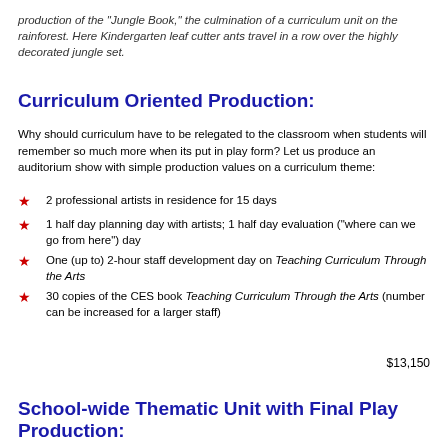production of the "Jungle Book," the culmination of a curriculum unit on the rainforest. Here Kindergarten leaf cutter ants travel in a row over the highly decorated jungle set.
Curriculum Oriented Production:
Why should curriculum have to be relegated to the classroom when students will remember so much more when its put in play form? Let us produce an auditorium show with simple production values on a curriculum theme:
2 professional artists in residence for 15 days
1 half day planning day with artists; 1 half day evaluation ("where can we go from here") day
One (up to) 2-hour staff development day on Teaching Curriculum Through the Arts
30 copies of the CES book Teaching Curriculum Through the Arts (number can be increased for a larger staff)
$13,150
School-wide Thematic Unit with Final Play Production: